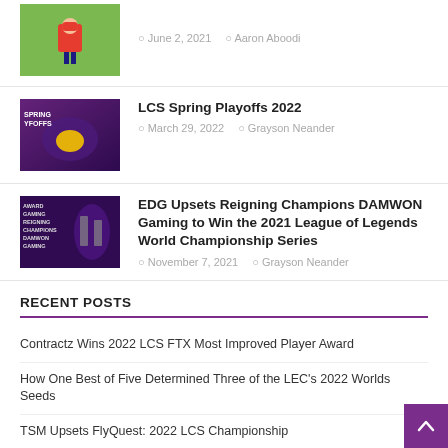[Figure (photo): Partial view of a gaming-related thumbnail with a character on green background]
June 2, 2021  Aaron Aboodi
[Figure (photo): LCS Spring Playoffs 2022 thumbnail with purple background and character]
LCS Spring Playoffs 2022
March 29, 2022  Grayson Neander
[Figure (photo): EDG vs DAMWON Gaming thumbnail with purple/dark background]
EDG Upsets Reigning Champions DAMWON Gaming to Win the 2021 League of Legends World Championship Series
November 7, 2021  Grayson Neander
RECENT POSTS
Contractz Wins 2022 LCS FTX Most Improved Player Award
How One Best of Five Determined Three of the LEC's 2022 Worlds Seeds
TSM Upsets FlyQuest: 2022 LCS Championship